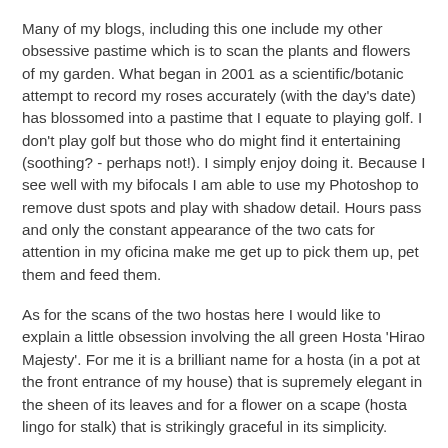Many of my blogs, including this one include my other obsessive pastime which is to scan the plants and flowers of my garden. What began in 2001 as a scientific/botanic attempt to record my roses accurately (with the day's date) has blossomed into a pastime that I equate to playing golf. I don't play golf but those who do might find it entertaining (soothing? - perhaps not!). I simply enjoy doing it. Because I see well with my bifocals I am able to use my Photoshop to remove dust spots and play with shadow detail. Hours pass and only the constant appearance of the two cats for attention in my oficina make me get up to pick them up, pet them and feed them.
As for the scans of the two hostas here I would like to explain a little obsession involving the all green Hosta 'Hirao Majesty'. For me it is a brilliant name for a hosta (in a pot at the front entrance of my house) that is supremely elegant in the sheen of its leaves and for a flower on a scape (hosta lingo for stalk) that is strikingly graceful in its simplicity.